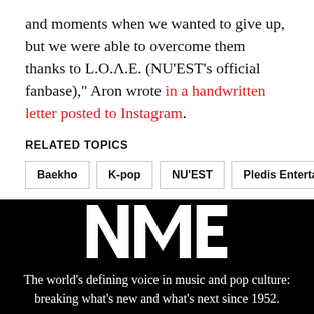and moments when we wanted to give up, but we were able to overcome them thanks to L.O.Λ.E. (NU'EST's official fanbase)," Aron wrote in a handwritten letter posted to Instagram.
RELATED TOPICS
Baekho
K-pop
NU'EST
Pledis Entertainment
[Figure (logo): NME logo in white on black background]
The world's defining voice in music and pop culture: breaking what's new and what's next since 1952.